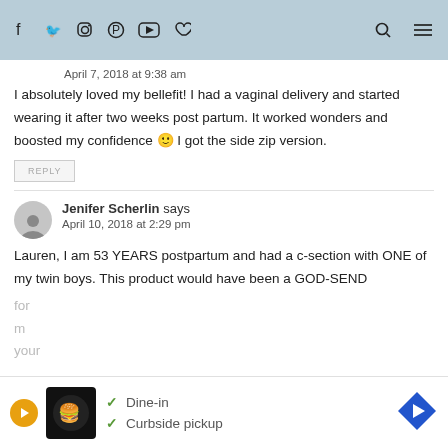Social media icons and navigation
April 7, 2018 at 9:38 am
I absolutely loved my bellefit! I had a vaginal delivery and started wearing it after two weeks post partum. It worked wonders and boosted my confidence 🙂 I got the side zip version.
REPLY
Jenifer Scherlin says
April 10, 2018 at 2:29 pm
Lauren, I am 53 YEARS postpartum and had a c-section with ONE of my twin boys. This product would have been a GOD-SEND
[Figure (other): Advertisement banner with restaurant logo, dine-in and curbside pickup options, and navigation arrow icon]